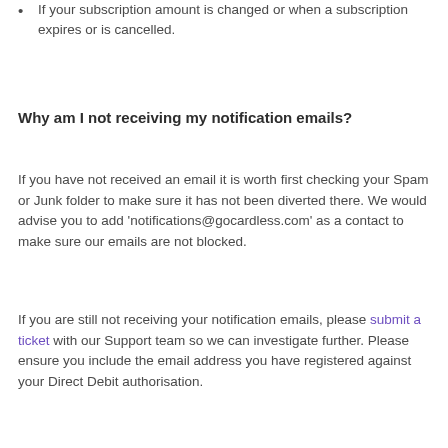If your subscription amount is changed or when a subscription expires or is cancelled.
Why am I not receiving my notification emails?
If you have not received an email it is worth first checking your Spam or Junk folder to make sure it has not been diverted there. We would advise you to add 'notifications@gocardless.com' as a contact to make sure our emails are not blocked.
If you are still not receiving your notification emails, please submit a ticket with our Support team so we can investigate further. Please ensure you include the email address you have registered against your Direct Debit authorisation.